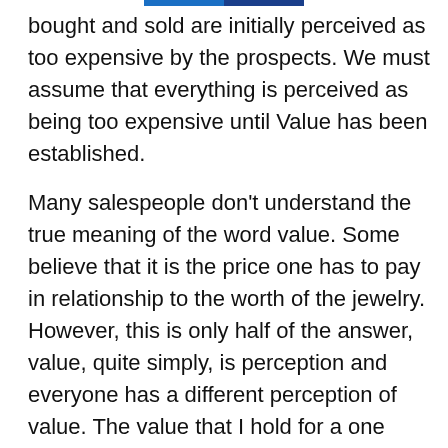bought and sold are initially perceived as too expensive by the prospects. We must assume that everything is perceived as being too expensive until Value has been established.
Many salespeople don't understand the true meaning of the word value. Some believe that it is the price one has to pay in relationship to the worth of the jewelry. However, this is only half of the answer, value, quite simply, is perception and everyone has a different perception of value. The value that I hold for a one hundred dollar bill is totally different from the value my youngest son has for the same one hundred dollars. As salespeople, we must sell based on the customer's perception of value, not ours. In order for any sale to be completed value has to be established. Once value has been established you will need to establish added value,